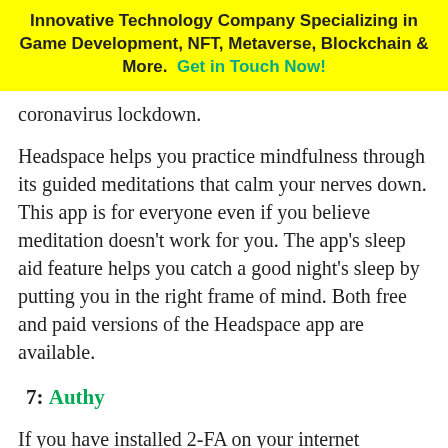[Figure (other): Yellow advertisement banner reading: Innovative Technology Company Specializing in Game Development, NFT, Metaverse, Blockchain & More. Get in Touch Now!]
coronavirus lockdown.
Headspace helps you practice mindfulness through its guided meditations that calm your nerves down. This app is for everyone even if you believe meditation doesn't work for you. The app's sleep aid feature helps you catch a good night's sleep by putting you in the right frame of mind. Both free and paid versions of the Headspace app are available.
7: Authy
If you have installed 2-FA on your internet